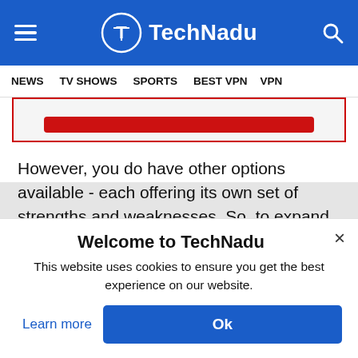TechNadu
NEWS  TV SHOWS  SPORTS  BEST VPN  VPN
[Figure (screenshot): Partial red button inside a bordered box, partially cut off at top]
However, you do have other options available - each offering its own set of strengths and weaknesses. So, to expand your options a bit,
Welcome to TechNadu
This website uses cookies to ensure you get the best experience on our website.
Learn more
Ok